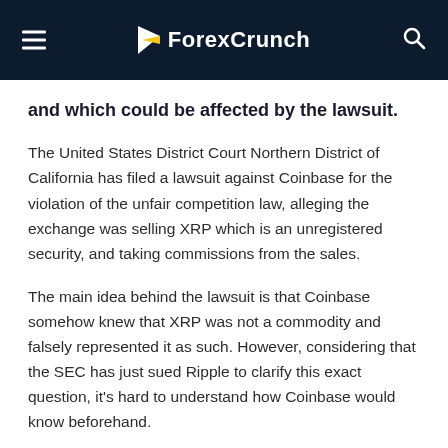ForexCrunch
and which could be affected by the lawsuit.
The United States District Court Northern District of California has filed a lawsuit against Coinbase for the violation of the unfair competition law, alleging the exchange was selling XRP which is an unregistered security, and taking commissions from the sales.
The main idea behind the lawsuit is that Coinbase somehow knew that XRP was not a commodity and falsely represented it as such. However, considering that the SEC has just sued Ripple to clarify this exact question, it's hard to understand how Coinbase would know beforehand.
Additionally, the complaint states that Coinbase knew about XRP being a security because of his technological integration into XRP's nodes. It also accuses Coinbase of